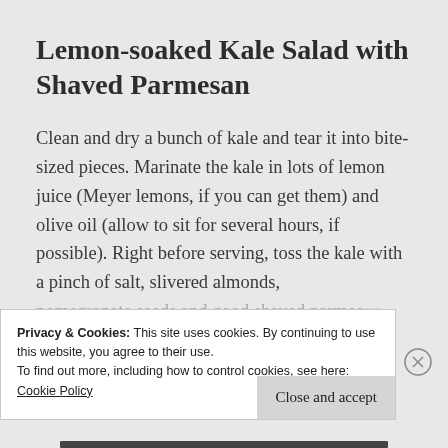Lemon-soaked Kale Salad with Shaved Parmesan
Clean and dry a bunch of kale and tear it into bite-sized pieces. Marinate the kale in lots of lemon juice (Meyer lemons, if you can get them) and olive oil (allow to sit for several hours, if possible). Right before serving, toss the kale with a pinch of salt, slivered almonds, pomegranate seeds and good shaved parmesan
Privacy & Cookies: This site uses cookies. By continuing to use this website, you agree to their use.
To find out more, including how to control cookies, see here:
Cookie Policy
Close and accept